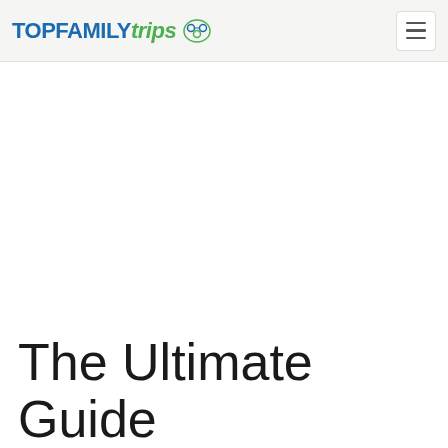TOPFAMILY Trips
The Ultimate Guide